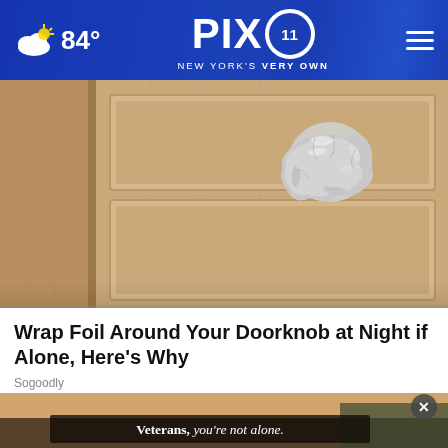84° PIX11 NEW YORK'S VERY OWN
[Figure (photo): Close-up photo of a wooden door knob wrapped in aluminum foil, with door panels visible in warm beige/tan tones]
Wrap Foil Around Your Doorknob at Night if Alone, Here's Why
Sogoodly
[Figure (photo): Advertisement banner showing a person in a dark setting with text 'Veterans, you're not alone.' and an X close button]